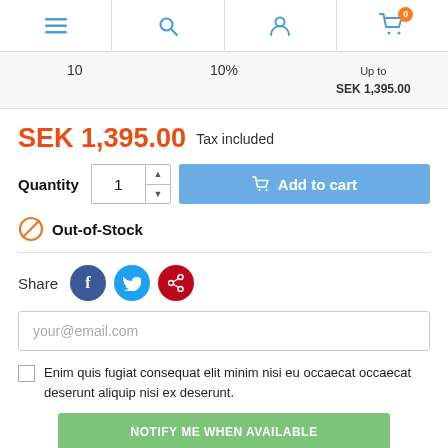[Figure (screenshot): E-commerce product page screenshot showing navigation header with menu, search, account, and cart icons, a discount table row showing quantity 10, 10% discount, up to SEK 1,395.00, price of SEK 1,395.00 with tax included label, quantity selector set to 1, Add to cart button, Out-of-Stock notice, Share buttons for Facebook/Twitter/Pinterest, email input field, checkbox with lorem-ipsum text, and Notify Me When Available button.]
Navigation header with menu, search, account, cart (0)
| Quantity | Discount | Price |
| --- | --- | --- |
| 10 | 10% | Up to
SEK 1,395.00 |
SEK 1,395.00  Tax included
Quantity  1  Add to cart
Out-of-Stock
Share
your@email.com
Enim quis fugiat consequat elit minim nisi eu occaecat occaecat deserunt aliquip nisi ex deserunt.
NOTIFY ME WHEN AVAILABLE